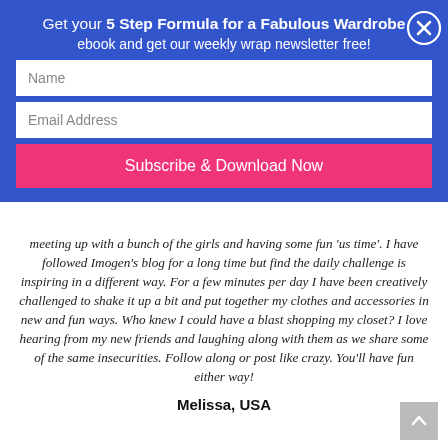Get your 5 Step Formula for a Fabulous Wardrobe ebook and get our weekly wrap newsletter free!
[Figure (screenshot): Email subscription form with Name field, Email Address field, and Subscribe & Download Now button on blue background with close (X) button]
meeting up with a bunch of the girls and having some fun 'us time'. I have followed Imogen's blog for a long time but find the daily challenge is inspiring in a different way. For a few minutes per day I have been creatively challenged to shake it up a bit and put together my clothes and accessories in new and fun ways. Who knew I could have a blast shopping my closet? I love hearing from my new friends and laughing along with them as we share some of the same insecurities. Follow along or post like crazy. You'll have fun either way!
Melissa, USA